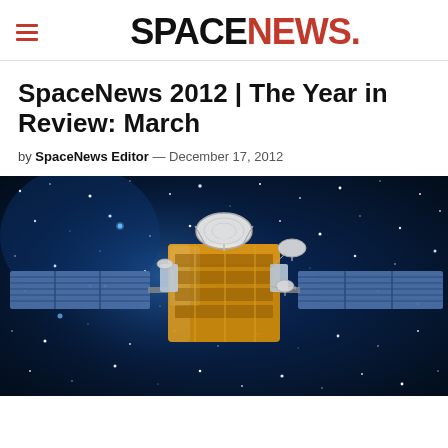SPACENEWS.
SpaceNews 2012 | The Year in Review: March
by SpaceNews Editor — December 17, 2012
[Figure (photo): Illustration of a communications satellite with large solar panels extended, set against a deep blue starfield background. The satellite body is gold/orange with white dish antennas.]